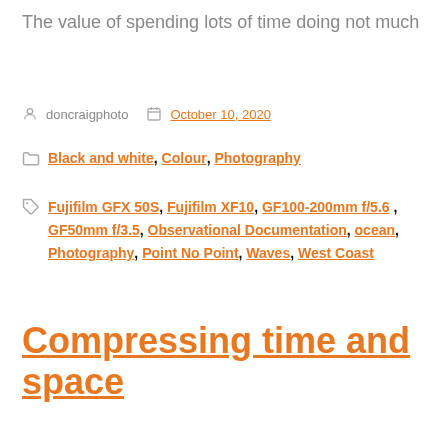The value of spending lots of time doing not much
doncraigphoto   October 10, 2020
Black and white, Colour, Photography
Fujifilm GFX 50S, Fujifilm XF10, GF100-200mm f/5.6, GF50mm f/3.5, Observational Documentation, ocean, Photography, Point No Point, Waves, West Coast
Compressing time and space